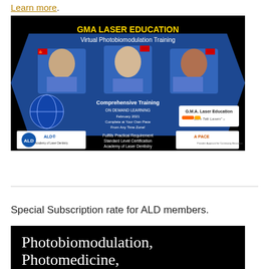Learn more.
[Figure (photo): GMA Laser Education advertisement for Virtual Photobiomodulation Training. Shows three professionals with country flags, comprehensive training details, on demand learning, ALD and PACE logos, and GMALaserEducation.com website.]
Special Subscription rate for ALD members.
[Figure (photo): Advertisement showing text 'Photobiomodulation, Photomedicine,' on a black background in large serif white font.]